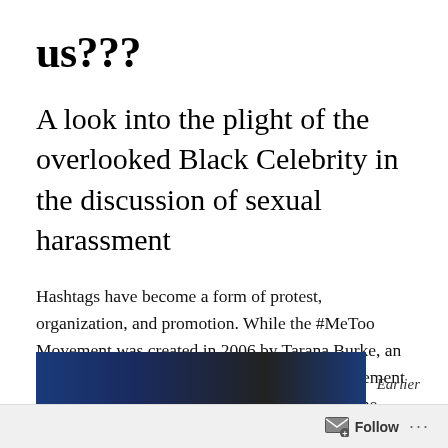us???
A look into the plight of the overlooked Black Celebrity in the discussion of sexual harassment
Hashtags have become a form of protest, organization, and promotion. While the #MeToo Movement was created in 2006 by Tarana Burke, an African American civil rights activist, the movement became viral in 2017 subsequently following the Harvey Weinstein allegations.
[Figure (photo): Partial image strip at bottom of page, dark blue/navy colored photograph]
Earlier
Follow ...